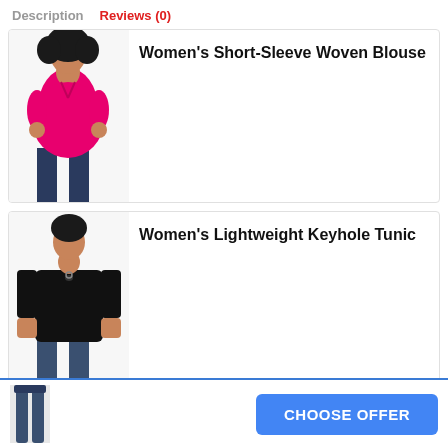Description   Reviews (0)
[Figure (photo): Woman wearing a pink short-sleeve woven blouse]
Women's Short-Sleeve Woven Blouse
[Figure (photo): Woman wearing a black lightweight keyhole tunic]
Women's Lightweight Keyhole Tunic
[Figure (photo): Thumbnail of jeans in footer]
CHOOSE OFFER